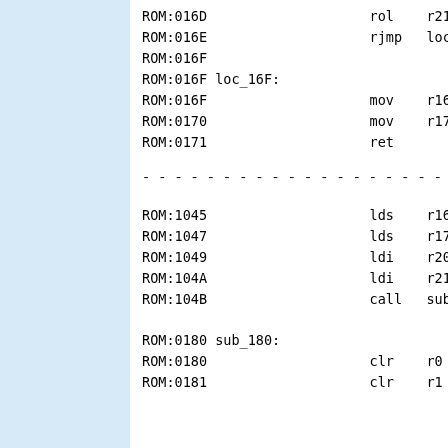ROM:016D                    rol     r21
ROM:016E                    rjmp    loc
ROM:016F
ROM:016F loc_16F:
ROM:016F                    mov     r16
ROM:0170                    mov     r17
ROM:0171                    ret

- - - - - - - - - - - - - - - - - - - - - - -

ROM:1045                    lds     r16
ROM:1047                    lds     r17
ROM:1049                    ldi     r20
ROM:104A                    ldi     r21
ROM:104B                    call    sub


ROM:0180 sub_180:
ROM:0180                    clr     r0
ROM:0181                    clr     r1